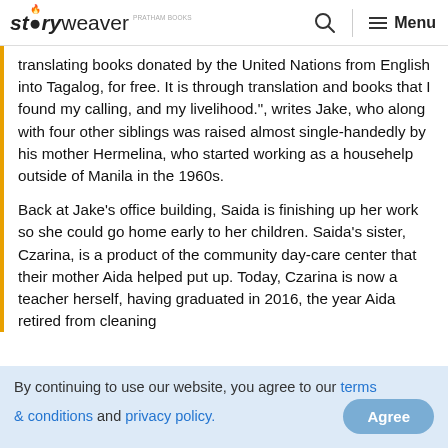storyweaver | Search | Menu
translating books donated by the United Nations from English into Tagalog, for free. It is through translation and books that I found my calling, and my livelihood.", writes Jake, who along with four other siblings was raised almost single-handedly by his mother Hermelina, who started working as a househelp outside of Manila in the 1960s.
Back at Jake's office building, Saida is finishing up her work so she could go home early to her children. Saida's sister, Czarina, is a product of the community day-care center that their mother Aida helped put up. Today, Czarina is now a teacher herself, having graduated in 2016, the year Aida retired from cleaning
By continuing to use our website, you agree to our terms & conditions and privacy policy. Agree